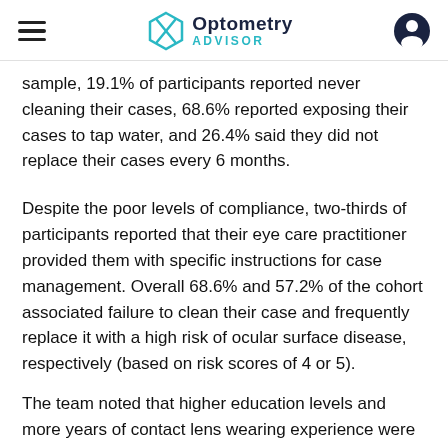Optometry Advisor
sample, 19.1% of participants reported never cleaning their cases, 68.6% reported exposing their cases to tap water, and 26.4% said they did not replace their cases every 6 months.
Despite the poor levels of compliance, two-thirds of participants reported that their eye care practitioner provided them with specific instructions for case management. Overall 68.6% and 57.2% of the cohort associated failure to clean their case and frequently replace it with a high risk of ocular surface disease, respectively (based on risk scores of 4 or 5).
The team noted that higher education levels and more years of contact lens wearing experience were associated with risk perception, particularly with